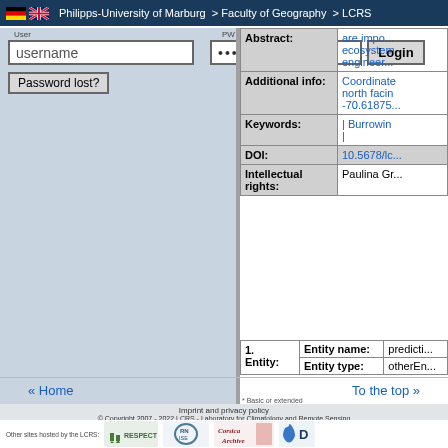Philipps-University of Marburg > Faculty of Geography > LCRS
username
••••••••
Login
Password lost?
| Field | Value |
| --- | --- |
| Abstract: | are impo... ecosystem engineer... |
| Additional info: | Coordinate north facing -70.61875... |
| Keywords: | | Burrowing | |
| DOI: | 10.5678/lc... |
| Intellectual rights: | Paulina Gr... |
| Entity | Name | Type |
| --- | --- | --- |
| 1. Entity: | Entity name: predicti... | Entity type: otherEn... |
* Basic or extended
1
« Home
To the top »
Imprint and privacy policy
© Copyright 2007 - 2022 LCRS - Laboratory for Climatology and Remote Sensing
Other sites hosted by the LCRS:
[Figure (logo): RESPECT logo]
[Figure (logo): RN ISE logo]
[Figure (logo): Corsica Archive logo]
[Figure (logo): Blue droplet logo with letter D]